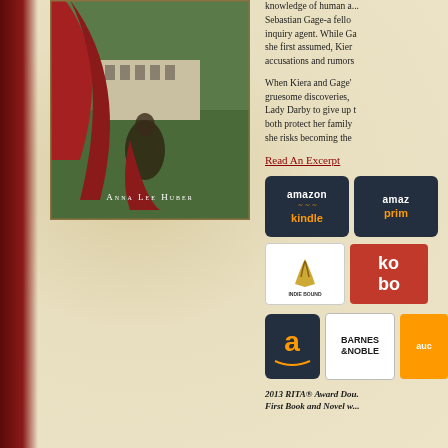[Figure (photo): Book cover of 'The Anatomist's Wife' by Anna Lee Huber, showing a woman in a red dress in front of a country estate]
knowledge of human a... Sebastian Gage-a fellow inquiry agent. While Ga... she first assumed, Kier... accusations and rumors...
When Kiera and Gage's gruesome discoveries, Lady Darby to give up t... both protect her family a... she risks becoming the...
Read An Excerpt
[Figure (logo): Amazon Kindle retailer button]
[Figure (logo): Amazon Prime retailer button (partially visible)]
[Figure (logo): IndieBound retailer button]
[Figure (logo): Kobo retailer button (partially visible)]
[Figure (logo): Amazon retailer button]
[Figure (logo): Barnes & Noble retailer button]
[Figure (logo): Audible retailer button (partially visible)]
2013 RITA® Award Dou... First Book and Novel w...